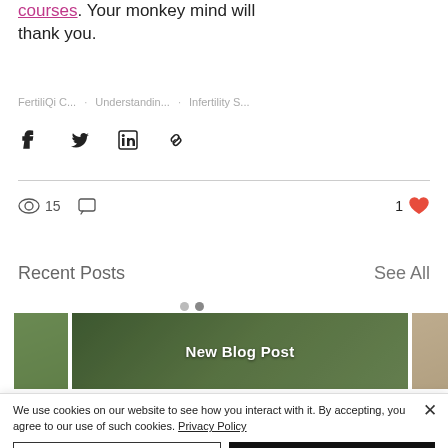courses. Your monkey mind will thank you.
FertiliQi C... · Understandin... · Infertility S...
[Figure (infographic): Social share icons: Facebook, Twitter, LinkedIn, link/copy]
15 views, 0 comments, 1 like
Recent Posts
See All
[Figure (photo): Blog post image strip showing three images: left greenery photo, center 'New Blog Post' promotional image with person holding glowing orb, right sandy/stone texture photo]
We use cookies on our website to see how you interact with it. By accepting, you agree to our use of such cookies. Privacy Policy
Settings
Accept